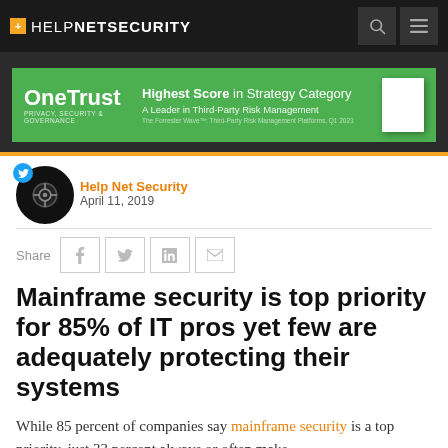+ HELPNETSECURITY
[Figure (other): OneTrust advertisement banner - Highest Score in Strategy Category, A Leader in Third-Party Risk Management]
Help Net Security
April 11, 2019
Share [facebook] [twitter] [linkedin] [email]
Mainframe security is top priority for 85% of IT pros yet few are adequately protecting their systems
While 85 percent of companies say mainframe security is a top priority, just 33 percent always or often make